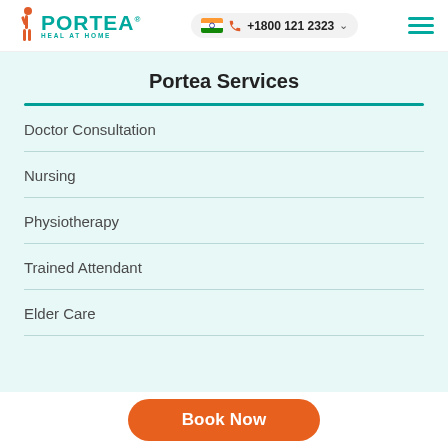Portea Heal At Home | +1800 121 2323
Portea Services
Doctor Consultation
Nursing
Physiotherapy
Trained Attendant
Elder Care
Book Now